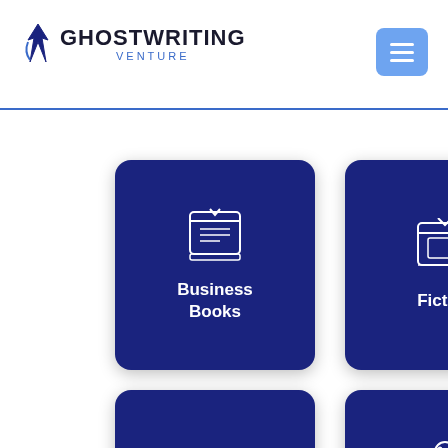[Figure (logo): Ghostwriting Venture logo with quill icon and blue text]
[Figure (infographic): Four dark blue service category cards: Business Books, Fiction, Non-Fiction, Children Books, each with white line icon]
[Figure (logo): Small Ghostwriting Venture logo icon in outlined box]
UTOBIOGRAPHY & MEMOIR
[Figure (illustration): WhatsApp green circle button with phone icon]
Our ghostwriters are well-trained to write autobiography & memoirs